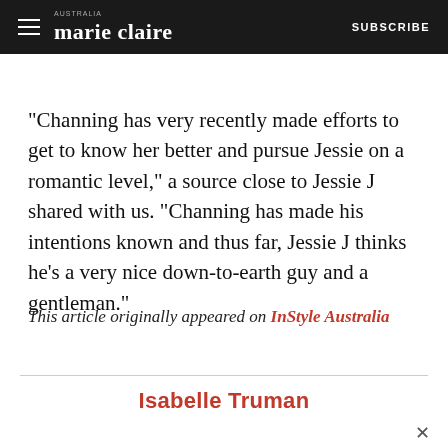marie claire | SUBSCRIBE
"Channing has very recently made efforts to get to know her better and pursue Jessie on a romantic level," a source close to Jessie J shared with us. "Channing has made his intentions known and thus far, Jessie J thinks he's a very nice down-to-earth guy and a gentleman."
This article originally appeared on InStyle Australia
Isabelle Truman